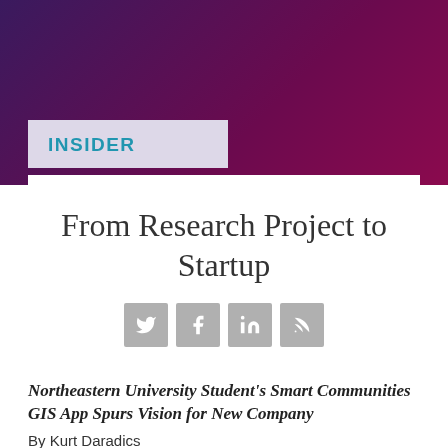INSIDER
From Research Project to Startup
[Figure (infographic): Social media share icons: Twitter, Facebook, LinkedIn, RSS feed]
Northeastern University Student's Smart Communities GIS App Spurs Vision for New Company
By Kurt Daradics
At the 2014 Esri User Conference (UC),